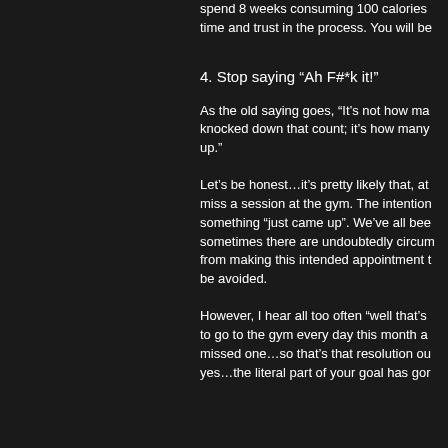spend 8 weeks consuming 100 calories time and trust in the process. You will be
4. Stop saying “Ah F#*k it!”
As the old saying goes, “It’s not how many times you get knocked down that count; it’s how many times you get back up.”
Let’s be honest…it’s pretty likely that, at some point, you’ll miss a session at the gym. The intention was there but something “just came up”. We’ve all been there and sometimes there are undoubtedly circumstances that prevent you from making this intended appointment that simply could not be avoided.
However, I hear all too often “well that’s it, I was going to go to the gym every day this month and I’ve only missed one…so that’s that resolution out the window” – yes…the literal part of your goal has gone